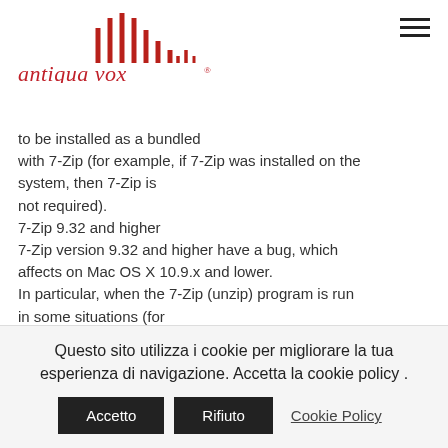[Figure (logo): Antiqua Vox logo with red sound wave bars and italic red text 'antiqua vox®']
to be installed as a bundled with 7-Zip (for example, if 7-Zip was installed on the system, then 7-Zip is not required). 7-Zip 9.32 and higher 7-Zip version 9.32 and higher have a bug, which affects on Mac OS X 10.9.x and lower. In particular, when the 7-Zip (unzip) program is run in some situations (for
https://nadersabin.ir/un...
Questo sito utilizza i cookie per migliorare la tua esperienza di navigazione. Accetta la cookie policy .
Accetto  Rifiuto  Cookie Policy